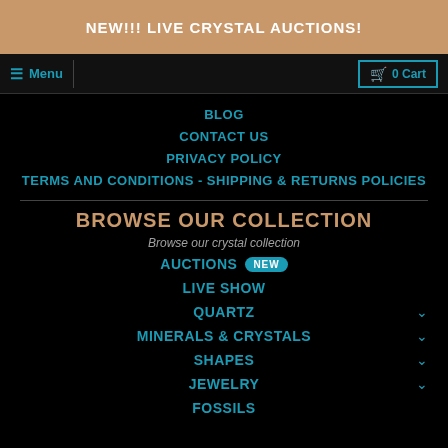NEW!!! LIVE CRYSTAL AUCTIONS!
Menu | 0 Cart
BLOG
CONTACT US
PRIVACY POLICY
TERMS AND CONDITIONS - SHIPPING & RETURNS POLICIES
BROWSE OUR COLLECTION
Browse our crystal collection
AUCTIONS NEW
LIVE SHOW
QUARTZ
MINERALS & CRYSTALS
SHAPES
JEWELRY
FOSSILS